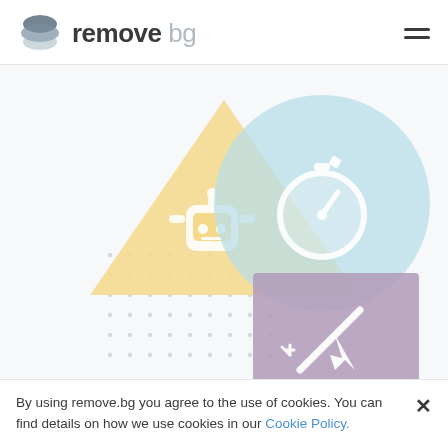remove bg
[Figure (illustration): remove.bg website screenshot showing an illustration with geometric shapes: a yellow triangle with a robot face icon, a light blue circle with a stopwatch/timer icon, a dotted grid pattern, and a purple/mauve square with a magic wand and cursor icon.]
By using remove.bg you agree to the use of cookies. You can find details on how we use cookies in our Cookie Policy.